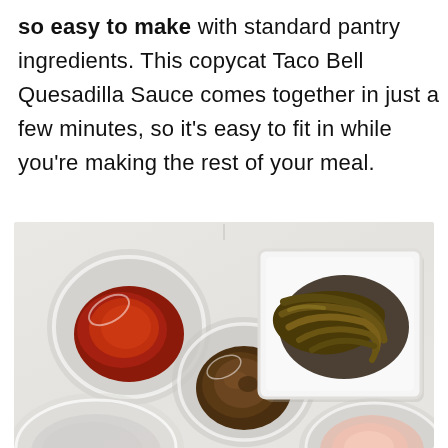so easy to make with standard pantry ingredients. This copycat Taco Bell Quesadilla Sauce comes together in just a few minutes, so it's easy to fit in while you're making the rest of your meal.
[Figure (photo): Overhead view of spice ingredients on a light marble surface: a round glass bowl with red powder (chili/paprika), a round glass bowl with brown ground spice, a white square ceramic dish with pickled jalapeño slices, a large round glass bowl partially visible at bottom left, and a round bowl with pale pink/orange powder partially visible at bottom right.]